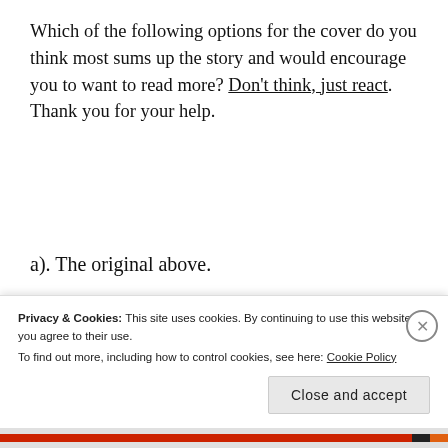Which of the following options for the cover do you think most sums up the story and would encourage you to want to read more? Don't think, just react. Thank you for your help.
a). The original above.
[Figure (illustration): Three book covers side by side, all titled 'CHANGES'. Left: an arch with a figure, blue sky background. Middle: a woman with a pink hat, sea background. Right: illustrated figure with luggage, light blue background.]
Privacy & Cookies: This site uses cookies. By continuing to use this website, you agree to their use. To find out more, including how to control cookies, see here: Cookie Policy
Close and accept